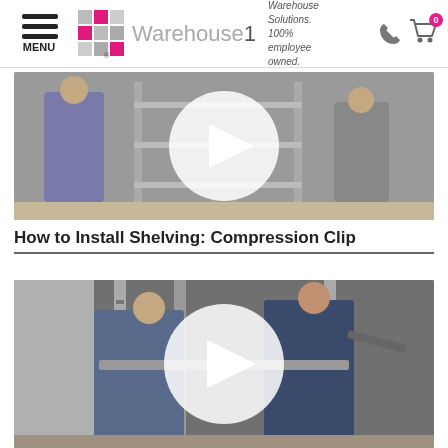MENU | Warehouse1 | Warehouse Solutions. 100% employee owned. | 0
[Figure (screenshot): Video thumbnail showing two workers installing shelving in a warehouse, with a large white play button overlay circle in the center]
How to Install Shelving: Compression Clip
[Figure (screenshot): Video thumbnail showing two workers assembling metal shelving rack uprights, one using a tool, with a white play button overlay circle in the center]